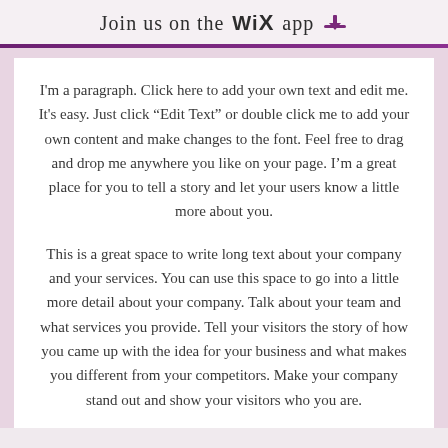Join us on the WiX app ↓
I'm a paragraph. Click here to add your own text and edit me. It's easy. Just click “Edit Text” or double click me to add your own content and make changes to the font. Feel free to drag and drop me anywhere you like on your page. I’m a great place for you to tell a story and let your users know a little more about you.
This is a great space to write long text about your company and your services. You can use this space to go into a little more detail about your company. Talk about your team and what services you provide. Tell your visitors the story of how you came up with the idea for your business and what makes you different from your competitors. Make your company stand out and show your visitors who you are.